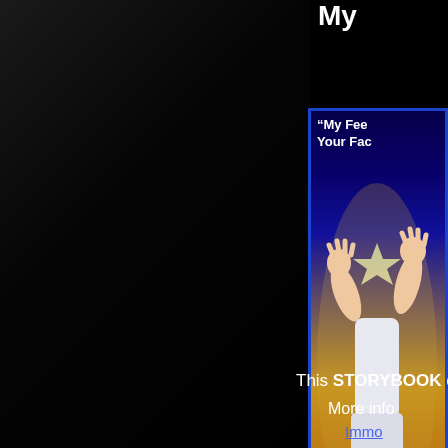My
[Figure (illustration): Book cover for 'My Feet in Your Face' storybook, showing a cartoon illustration of a person upside-down with feet up, on a yellow/golden background. Text reads '"My Fee... Your Fac...' at top and 'www.FootF...' at bottom.]
This STORYBOOK c
More info
Immo